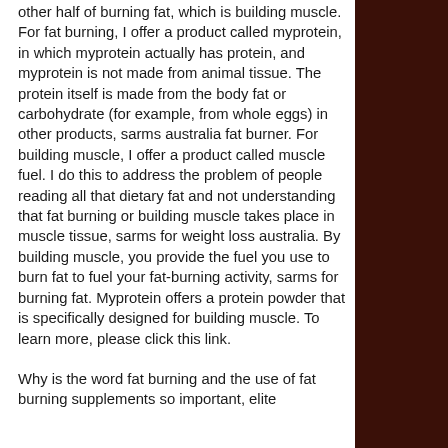other half of burning fat, which is building muscle. For fat burning, I offer a product called myprotein, in which myprotein actually has protein, and myprotein is not made from animal tissue. The protein itself is made from the body fat or carbohydrate (for example, from whole eggs) in other products, sarms australia fat burner. For building muscle, I offer a product called muscle fuel. I do this to address the problem of people reading all that dietary fat and not understanding that fat burning or building muscle takes place in muscle tissue, sarms for weight loss australia. By building muscle, you provide the fuel you use to burn fat to fuel your fat-burning activity, sarms for burning fat. Myprotein offers a protein powder that is specifically designed for building muscle. To learn more, please click this link.
Why is the word fat burning and the use of fat burning supplements so important, elite